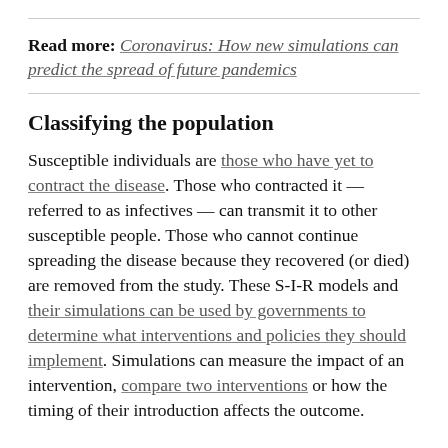Read more: Coronavirus: How new simulations can predict the spread of future pandemics
Classifying the population
Susceptible individuals are those who have yet to contract the disease. Those who contracted it — referred to as infectives — can transmit it to other susceptible people. Those who cannot continue spreading the disease because they recovered (or died) are removed from the study. These S-I-R models and their simulations can be used by governments to determine what interventions and policies they should implement. Simulations can measure the impact of an intervention, compare two interventions or how the timing of their introduction affects the outcome.